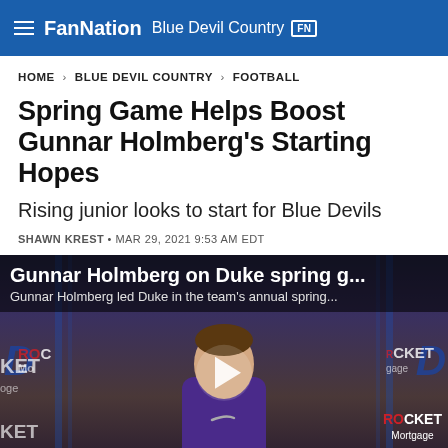FanNation Blue Devil Country FN
HOME > BLUE DEVIL COUNTRY > FOOTBALL
Spring Game Helps Boost Gunnar Holmberg's Starting Hopes
Rising junior looks to start for Blue Devils
SHAWN KREST • MAR 29, 2021 9:53 AM EDT
[Figure (screenshot): Video thumbnail showing Gunnar Holmberg at a press conference with Duke and Rocket Mortgage branding. Overlay text reads 'Gunnar Holmberg on Duke spring g...' and 'Gunnar Holmberg led Duke in the team's annual spring...' with a play button in the center.]